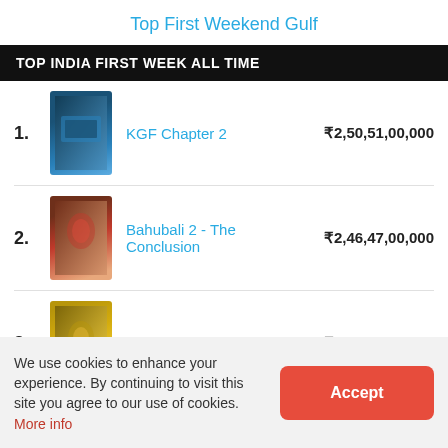Top First Weekend Gulf
TOP INDIA FIRST WEEK ALL TIME
1. KGF Chapter 2 — ₹2,50,51,00,000
2. Bahubali 2 - The Conclusion — ₹2,46,47,00,000
3. Sultan — ₹2,08,99,00,000
See Full List
We use cookies to enhance your experience. By continuing to visit this site you agree to our use of cookies. More info